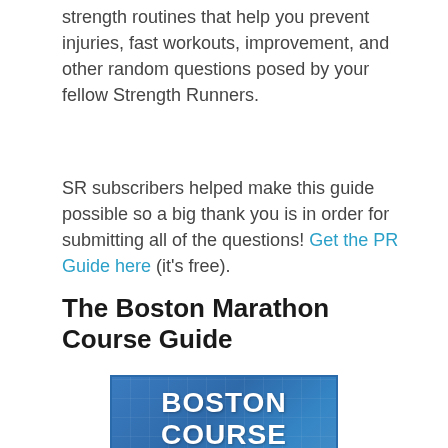strength routines that help you prevent injuries, fast workouts, improvement, and other random questions posed by your fellow Strength Runners.
SR subscribers helped make this guide possible so a big thank you is in order for submitting all of the questions! Get the PR Guide here (it's free).
The Boston Marathon Course Guide
[Figure (illustration): Boston Course Guide book cover image with blue grid background and white bold text reading BOSTON COURSE GUIDE]